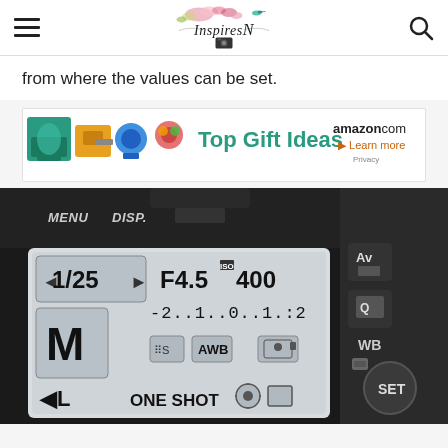InspiresN logo with hamburger menu and search icon
from where the values can be set.
[Figure (photo): Amazon.com Top Gift Ideas advertisement banner with kitchen mixer, drill, and other products]
[Figure (photo): Canon DSLR camera LCD screen showing Manual mode settings: 1/25 shutter speed, F4.5 aperture, ISO 400, -2..1..0..1.:2 exposure scale, M mode, drive mode S, AWB, face detection, ONE SHOT autofocus, metering and format icons. Camera body also shows Av, Q, WB, SET buttons.]